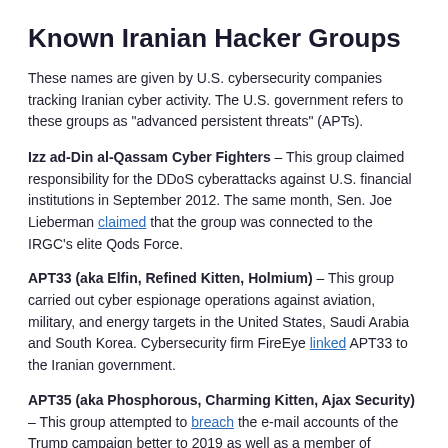Known Iranian Hacker Groups
These names are given by U.S. cybersecurity companies tracking Iranian cyber activity. The U.S. government refers to these groups as "advanced persistent threats" (APTs).
Izz ad-Din al-Qassam Cyber Fighters – This group claimed responsibility for the DDoS cyberattacks against U.S. financial institutions in September 2012. The same month, Sen. Joe Lieberman claimed that the group was connected to the IRGC's elite Qods Force.
APT33 (aka Elfin, Refined Kitten, Holmium) – This group carried out cyber espionage operations against aviation, military, and energy targets in the United States, Saudi Arabia and South Korea. Cybersecurity firm FireEye linked APT33 to the Iranian government.
APT35 (aka Phosphorous, Charming Kitten, Ajax Security) – This group attempted to breach the e-mail accounts of the Trump campaign better to 2019 as well as a member of